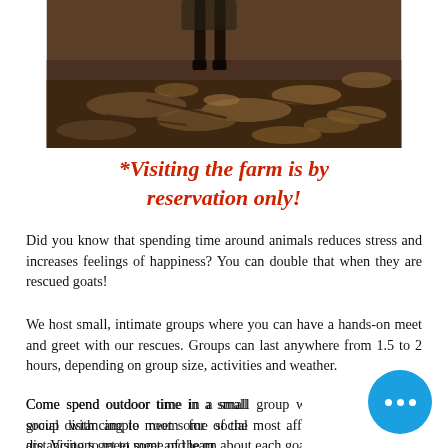[Figure (photo): Photo showing animal legs (likely a goat) standing on dirt ground covered with fallen leaves and branches]
*Visiting the farm is by reservation only!
Did you know that spending time around animals reduces stress and increases feelings of happiness? You can double that when they are rescued goats!
We host small, intimate groups where you can have a hands-on meet and greet with our rescues. Groups can last anywhere from 1.5 to 2 hours, depending on group size, activities and weather.
Come spend outdoor time in a small group with ample room for social distancing to meet some of the most affectionate goats there are. Visitors get to meet and learn about each goat